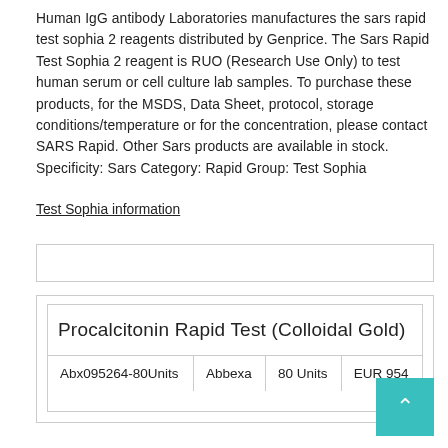Human IgG antibody Laboratories manufactures the sars rapid test sophia 2 reagents distributed by Genprice. The Sars Rapid Test Sophia 2 reagent is RUO (Research Use Only) to test human serum or cell culture lab samples. To purchase these products, for the MSDS, Data Sheet, protocol, storage conditions/temperature or for the concentration, please contact SARS Rapid. Other Sars products are available in stock. Specificity: Sars Category: Rapid Group: Test Sophia
Test Sophia information
|  | Procalcitonin Rapid Test (Colloidal Gold) |
| --- | --- |
| Abx095264-80Units | Abbexa | 80 Units | EUR 954 |